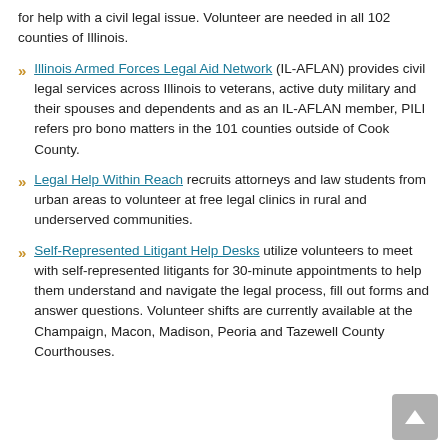for help with a civil legal issue. Volunteer are needed in all 102 counties of Illinois.
Illinois Armed Forces Legal Aid Network (IL-AFLAN) provides civil legal services across Illinois to veterans, active duty military and their spouses and dependents and as an IL-AFLAN member, PILI refers pro bono matters in the 101 counties outside of Cook County.
Legal Help Within Reach recruits attorneys and law students from urban areas to volunteer at free legal clinics in rural and underserved communities.
Self-Represented Litigant Help Desks utilize volunteers to meet with self-represented litigants for 30-minute appointments to help them understand and navigate the legal process, fill out forms and answer questions. Volunteer shifts are currently available at the Champaign, Macon, Madison, Peoria and Tazewell County Courthouses.